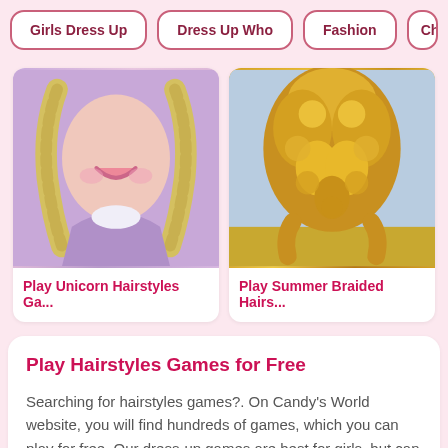Girls Dress Up | Dress Up Who | Fashion | Char...
[Figure (illustration): Cartoon girl with long blonde hair in purple/pink outfit - Unicorn Hairstyles game thumbnail]
Play Unicorn Hairstyles Ga...
[Figure (illustration): Golden braided hairstyle close-up - Summer Braided Hairstyles game thumbnail]
Play Summer Braided Hairs...
Play Hairstyles Games for Free
Searching for hairstyles games?. On Candy's World website, you will find hundreds of games, which you can play for free. Our dress-up games are best for girls, but can be played by boys as well. If you haven't found any hairstyles game you like, please refine your game search or visit our homepage for other best